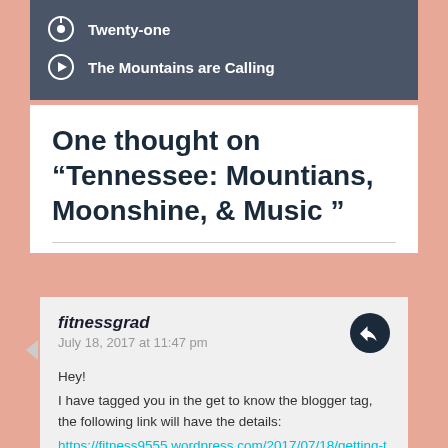Twenty-one
The Mountains are Calling
One thought on “Tennessee: Mountians, Moonshine, & Music ”
fitnessgrad
July 18, 2017 at 11:47 pm

Hey!
I have tagged you in the get to know the blogger tag, the following link will have the details:
https://fitness9555.wordpress.com/2017/07/18/getting-to-know-you-blogger-q-and-a-tag/